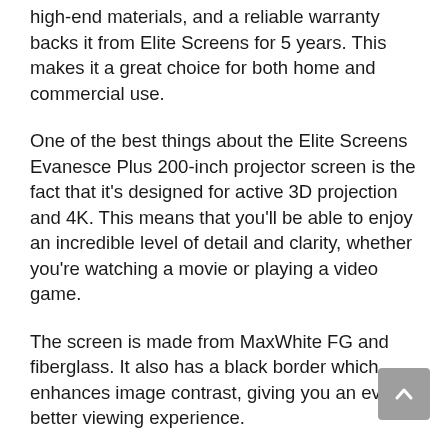high-end materials, and a reliable warranty backs it from Elite Screens for 5 years. This makes it a great choice for both home and commercial use.
One of the best things about the Elite Screens Evanesce Plus 200-inch projector screen is the fact that it's designed for active 3D projection and 4K. This means that you'll be able to enjoy an incredible level of detail and clarity, whether you're watching a movie or playing a video game.
The screen is made from MaxWhite FG and fiberglass. It also has a black border which enhances image contrast, giving you an even better viewing experience.